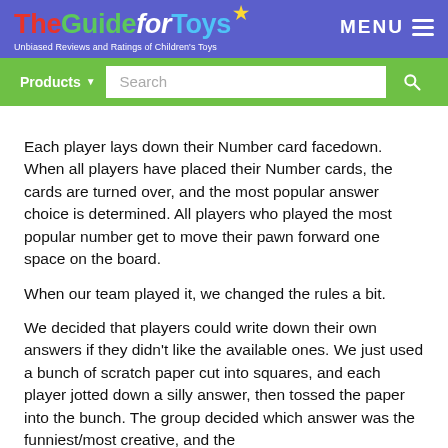The Guide for Toys — Unbiased Reviews and Ratings of Children's Toys
Each player lays down their Number card facedown. When all players have placed their Number cards, the cards are turned over, and the most popular answer choice is determined. All players who played the most popular number get to move their pawn forward one space on the board.
When our team played it, we changed the rules a bit.
We decided that players could write down their own answers if they didn't like the available ones. We just used a bunch of scratch paper cut into squares, and each player jotted down a silly answer, then tossed the paper into the bunch. The group decided which answer was the funniest/most creative, and the